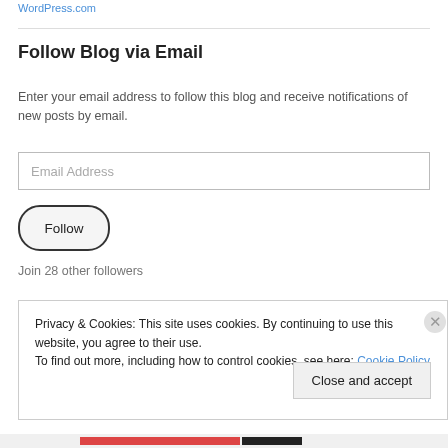WordPress.com
Follow Blog via Email
Enter your email address to follow this blog and receive notifications of new posts by email.
Email Address
Follow
Join 28 other followers
Privacy & Cookies: This site uses cookies. By continuing to use this website, you agree to their use. To find out more, including how to control cookies, see here: Cookie Policy
Close and accept